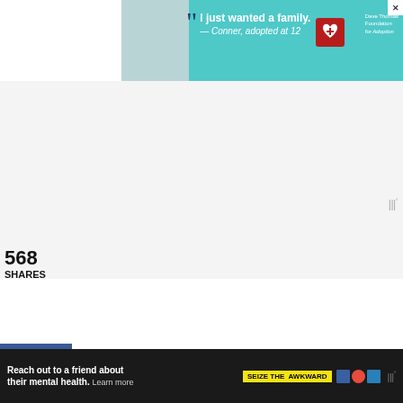[Figure (photo): Advertisement banner: teal/cyan background with a boy in suit, quote 'I just wanted a family. — Conner, adopted at 12', Dave Thomas Foundation for Adoption logo with red heart Y symbol]
568
SHARES
nd no:
s not actually Micronesia, as Zoolander fondly refers to it.
This website uses cookies to improve your experience. We'll assume you're ok with this, but you can opt-out if you wish.
[Figure (screenshot): Bottom advertisement: dark background, 'Reach out to a friend about their mental health. Learn more' with 'SEIZE THE AWKWARD' yellow badge and organization logos, Taboola watermark]
570
568